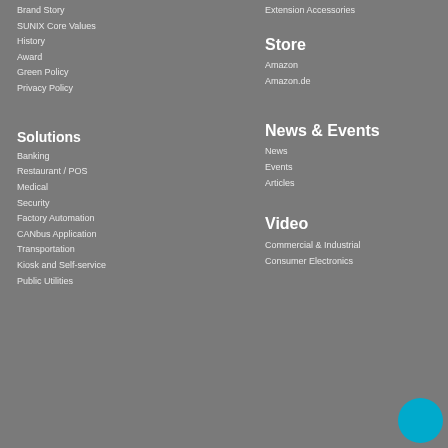Brand Story
Extension Accessories
SUNIX Core Values
History
Store
Award
Amazon
Green Policy
Amazon.de
Privacy Policy
Solutions
News & Events
Banking
News
Restaurant / POS
Events
Medical
Articles
Security
Video
Factory Automation
Commercial & Industrial
CANbus Application
Consumer Electronics
Transportation
Kiosk and Self-service
Public Utilities